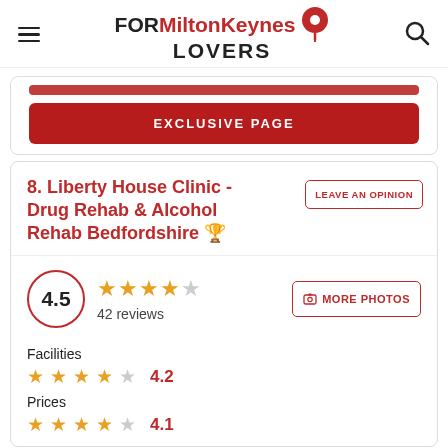FOR Milton Keynes LOVERS
[Figure (screenshot): Partially visible red button at top of card]
EXCLUSIVE PAGE
8. Liberty House Clinic - Drug Rehab & Alcohol Rehab Bedfordshire 🏆
LEAVE AN OPINION
4.5 — 42 reviews
MORE PHOTOS
Facilities
4.2
Prices
4.1